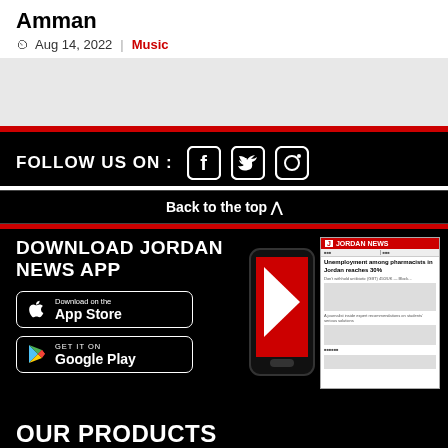Amman
Aug 14, 2022  |  Music
[Figure (other): Gray placeholder box]
FOLLOW US ON :  [Facebook icon] [Twitter icon] [Instagram icon]
Back to the top ^
DOWNLOAD JORDAN NEWS APP
[Figure (other): App Store and Google Play download badges with phone mockup and newspaper front page]
OUR PRODUCTS